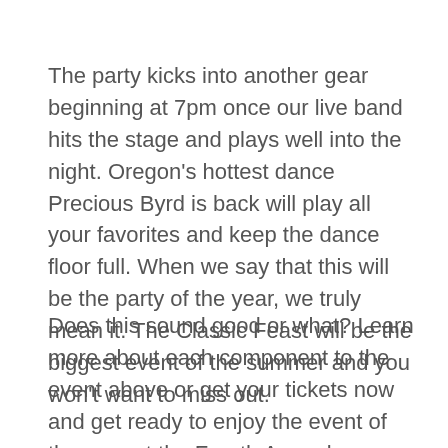The party kicks into another gear beginning at 7pm once our live band hits the stage and plays well into the night. Oregon's hottest dance Precious Byrd is back will play all your favorites and keep the dance floor full. When we say that this will be the party of the year, we truly mean it. The Classic Feast will be the biggest event of the summer and you won't want to miss out.
Does this sound good or what? Learn more about each component to the event above or get your tickets now and get ready to enjoy the event of the year at the Fourth Annual Medford BMW